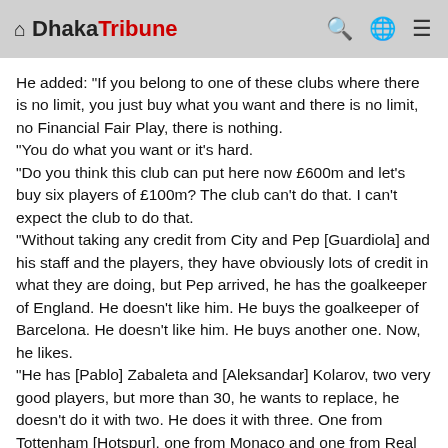Dhaka Tribune
He added: "If you belong to one of these clubs where there is no limit, you just buy what you want and there is no limit, no Financial Fair Play, there is nothing. "You do what you want or it's hard. "Do you think this club can put here now £600m and let's buy six players of £100m? The club can't do that. I can't expect the club to do that. "Without taking any credit from City and Pep [Guardiola] and his staff and the players, they have obviously lots of credit in what they are doing, but Pep arrived, he has the goalkeeper of England. He doesn't like him. He buys the goalkeeper of Barcelona. He doesn't like him. He buys another one. Now, he likes. "He has [Pablo] Zabaleta and [Aleksandar] Kolarov, two very good players, but more than 30, he wants to replace, he doesn't do it with two. He does it with three. One from Tottenham [Hotspur], one from Monaco and one from Real Madrid, as an example. "Can we buy six or seven players at the same time, can we invest £600m or £700m? No. No. So, it's difficult.